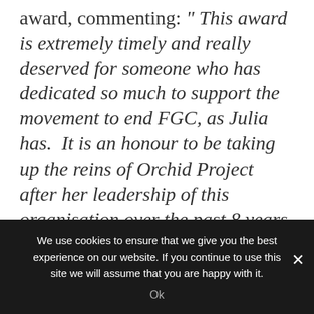award, commenting: “ This award is extremely timely and really deserved for someone who has dedicated so much to support the movement to end FGC, as Julia has.  It is an honour to be taking up the reins of Orchid Project after her leadership of this organisation over the past 8 years. Thank you, Julia, for paving the way at Orchid Project and for your
We use cookies to ensure that we give you the best experience on our website. If you continue to use this site we will assume that you are happy with it. Ok